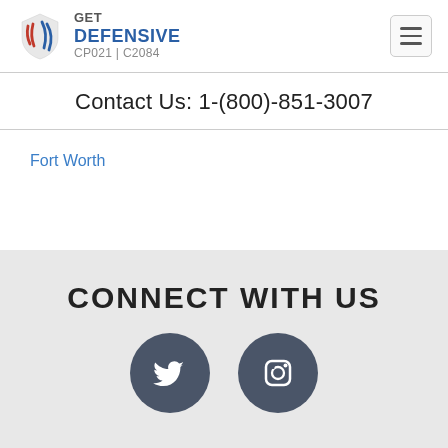[Figure (logo): Get Defensive logo with shield icon and text GET DEFENSIVE CP021 | C2084]
Contact Us: 1-(800)-851-3007
Fort Worth
CONNECT WITH US
[Figure (illustration): Twitter and Instagram social media icons as circular dark gray buttons]